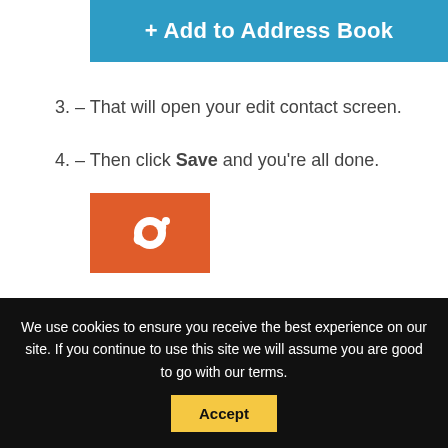[Figure (screenshot): Blue button with text '+ Add to Address Book']
3. – That will open your edit contact screen.
4. – Then click Save and you're all done.
[Figure (logo): Orange square icon with white planet/orbit logo]
We use cookies to ensure you receive the best experience on our site. If you continue to use this site we will assume you are good to go with our terms.
Accept